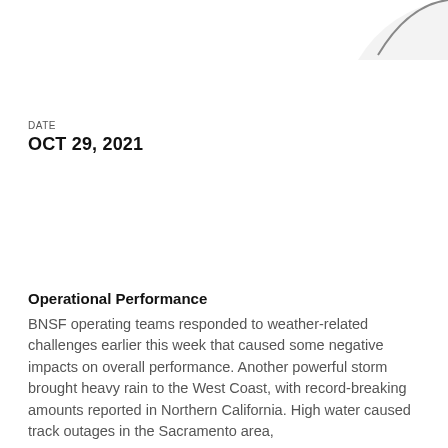[Figure (illustration): Partial decorative curved graphic element at top right corner of page]
DATE
OCT 29, 2021
Operational Performance
BNSF operating teams responded to weather-related challenges earlier this week that caused some negative impacts on overall performance. Another powerful storm brought heavy rain to the West Coast, with record-breaking amounts reported in Northern California. High water caused track outages in the Sacramento area,